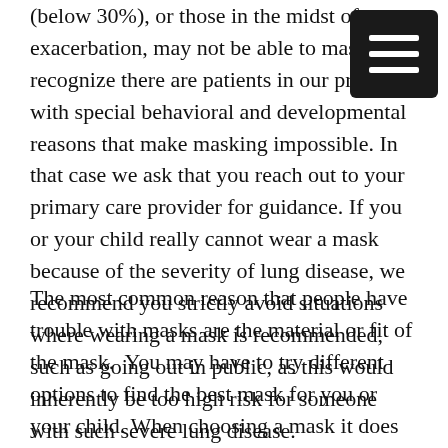(below 30%), or those in the midst of an exacerbation, may not be able to mask. We recognize there are patients in our practice with special behavioral and developmental reasons that make masking impossible. In that case we ask that you reach out to your primary care provider for guidance. If you or your child really cannot wear a mask because of the severity of lung disease, we recommend you strictly avoid situations where wearing a mask is recommended, such as going out in public, as this would inherently be too high risk for someone with such severe lung disease.
The most common reason that people have trouble with masks are the material or fit of the mask. You may have to try different options to find the best mask for you or your child. When choosing a mask it does not have to be tight-fitting. Many can wear a loose-fitting mask that covers the nose and mouth, but does not fall off. It